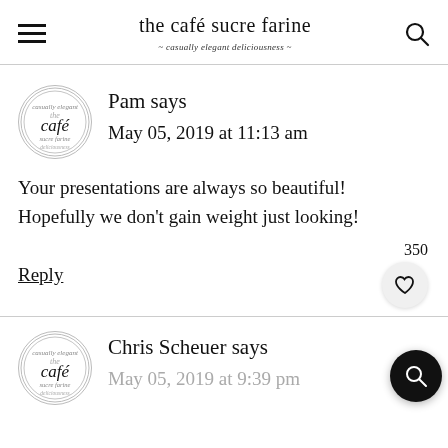the café sucre farine — casually elegant deliciousness
Pam says
May 05, 2019 at 11:13 am
Your presentations are always so beautiful! Hopefully we don't gain weight just looking!
Reply
350
Chris Scheuer says
May 05, 2019 at 9:39 pm